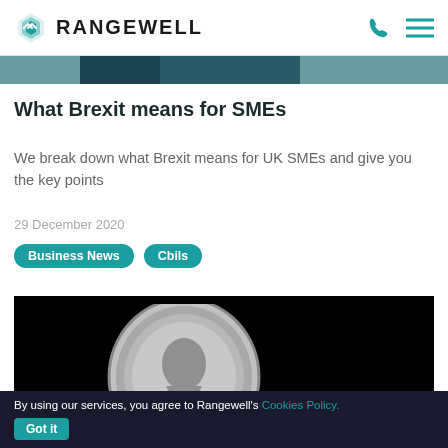RANGEWELL
[Figure (photo): Top partial image strip — dark teal/grey cropped photo]
What Brexit means for SMEs
We break down what Brexit means for UK SMEs and give you the key points
29 December 2020
Business News
Cbils
[Figure (photo): Close-up photo of a British pound coin on black background]
Rangewell's analysis of economic data duri
By using our services, you agree to Rangewell's Cookies Policy. Got it